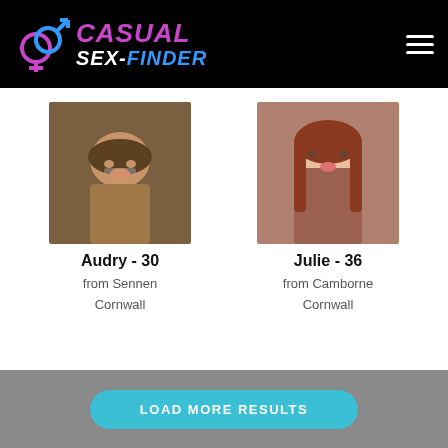[Figure (logo): Casual Sex-Finder website logo with gender symbols icon, pink/purple CASUAL text and blue FINDER text on black header background]
[Figure (photo): Profile photo of Audry, a woman with glasses and brown hair]
Audry - 30
from Sennen
Cornwall
[Figure (photo): Profile photo of Julie, a woman with long reddish-brown hair]
Julie - 36
from Camborne
Cornwall
LOAD MORE RESULTS